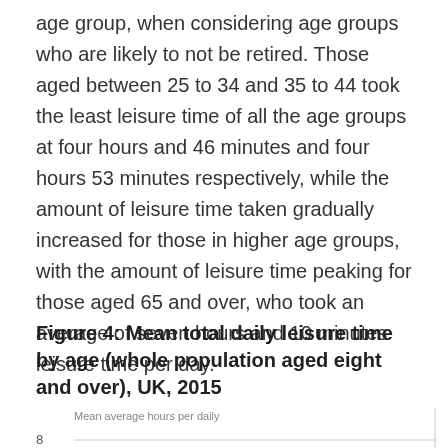age group, when considering age groups who are likely to not be retired. Those aged between 25 to 34 and 35 to 44 took the least leisure time of all the age groups at four hours and 46 minutes and four hours 53 minutes respectively, while the amount of leisure time taken gradually increased for those in higher age groups, with the amount of leisure time peaking for those aged 65 and over, who took an average of seven hours and 10 minutes leisure time per day.
Figure 4: Mean total daily leisure time by age (whole population aged eight and over), UK, 2015
[Figure (bar-chart): Partial bar chart visible at bottom of page showing y-axis label 'Mean average hours per daily' and tick mark at 8]